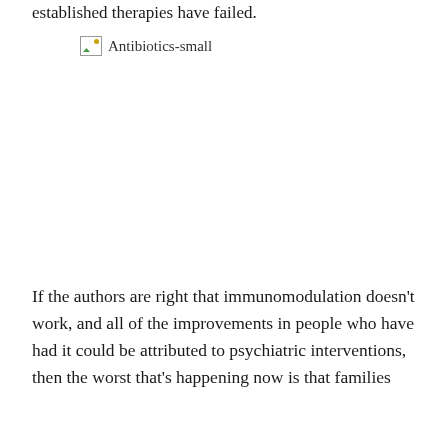established therapies have failed.
[Figure (photo): Broken image placeholder labeled 'Antibiotics-small']
If the authors are right that immunomodulation doesn't work, and all of the improvements in people who have had it could be attributed to psychiatric interventions, then the worst that's happening now is that families